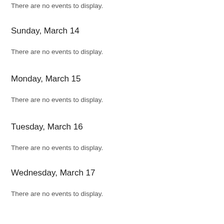There are no events to display.
Sunday, March 14
There are no events to display.
Monday, March 15
There are no events to display.
Tuesday, March 16
There are no events to display.
Wednesday, March 17
There are no events to display.
Thursday, March 18
There are no events to display.